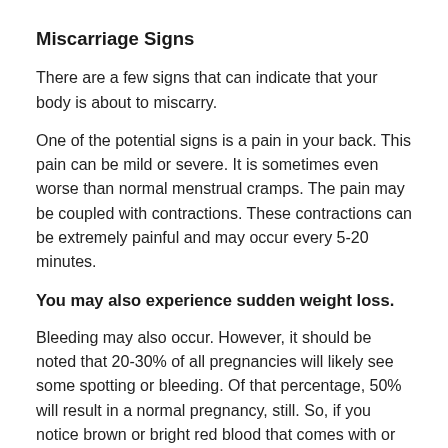Miscarriage Signs
There are a few signs that can indicate that your body is about to miscarry.
One of the potential signs is a pain in your back. This pain can be mild or severe. It is sometimes even worse than normal menstrual cramps. The pain may be coupled with contractions. These contractions can be extremely painful and may occur every 5-20 minutes.
You may also experience sudden weight loss.
Bleeding may also occur. However, it should be noted that 20-30% of all pregnancies will likely see some spotting or bleeding. Of that percentage, 50% will result in a normal pregnancy, still. So, if you notice brown or bright red blood that comes with or without cramps, then you may be fine. However, it may also be a sign that you're about to miscarry.